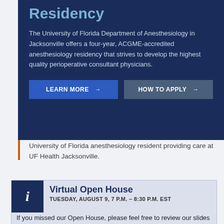Residency
The University of Florida Department of Anesthesiology in Jacksonville offers a four-year, ACGME-accredited anesthesiology residency that strives to develop the highest quality perioperative consultant physicians.
LEARN MORE → | HOW TO APPLY →
University of Florida anesthesiology resident providing care at UF Health Jacksonville.
Virtual Open House
TUESDAY, AUGUST 9, 7 P.M. – 8:30 P.M. EST
If you missed our Open House, please feel free to review our slides for lots of great info. Contact us with any questions.